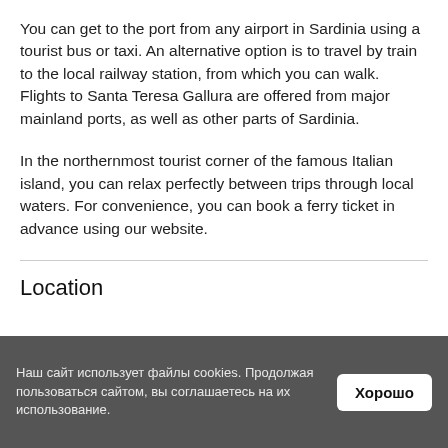You can get to the port from any airport in Sardinia using a tourist bus or taxi. An alternative option is to travel by train to the local railway station, from which you can walk. Flights to Santa Teresa Gallura are offered from major mainland ports, as well as other parts of Sardinia.
In the northernmost tourist corner of the famous Italian island, you can relax perfectly between trips through local waters. For convenience, you can book a ferry ticket in advance using our website.
Location
Наш сайт использует файлы cookies. Продолжая пользоваться сайтом, вы соглашаетесь на их использование.